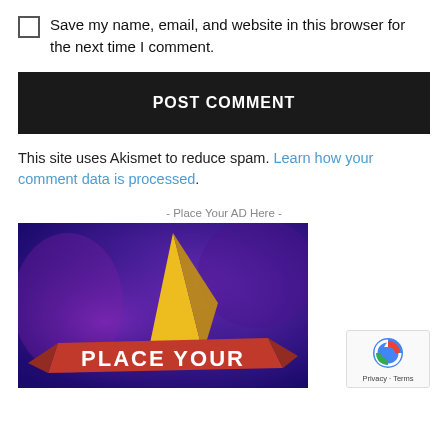Save my name, email, and website in this browser for the next time I comment.
POST COMMENT
This site uses Akismet to reduce spam. Learn how your comment data is processed.
- Place Your AD Here -
[Figure (illustration): Advertisement placeholder image with purple/blue background, gold star shape, red banner ribbon with bold white text 'PLACE YOUR']